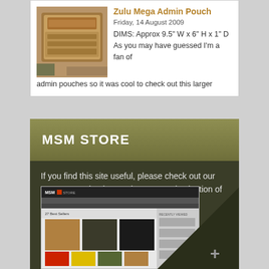[Figure (screenshot): Product thumbnail image of a tan/coyote admin pouch on left side of card]
Zulu Mega Admin Pouch
Friday, 14 August 2009
DIMS: Approx 9.5" W x 6" H x 1" D As you may have guessed I'm a fan of admin pouches so it was cool to check out this larger
MSM STORE
If you find this site useful, please check out our store to say thanks! We have a good selection of morale and tactical accessories.
[Figure (screenshot): Screenshot of MSM Store website showing tactical gear products including backpacks and morale patches]